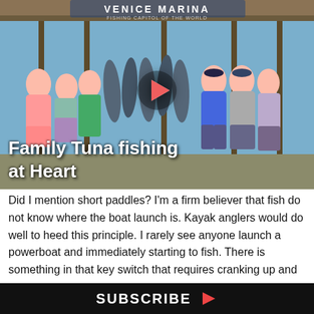[Figure (photo): Group of people posing with caught tuna fish at Venice Marina. Sign reads VENICE MARINA. A play button overlay is visible in the center of the image. Text overlay reads 'Family Tuna fishing at Heart'.]
Did I mention short paddles? I'm a firm believer that fish do not know where the boat launch is. Kayak anglers would do well to heed this principle. I rarely see anyone launch a powerboat and immediately starting to fish. There is something in that key switch that requires cranking up and heading out. How many fish are passed up at 40 mph looking for what is thought to be greener
SUBSCRIBE ▶